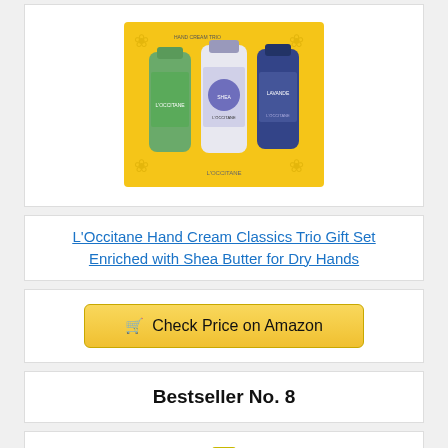[Figure (photo): L'Occitane Hand Cream Classics Trio Gift Set product image showing three hand cream tubes in a yellow gift box packaging]
L'Occitane Hand Cream Classics Trio Gift Set Enriched with Shea Butter for Dry Hands
[Figure (other): Check Price on Amazon button with shopping cart icon]
Bestseller No. 8
[Figure (photo): Partial product image of another item with yellow cap, bottom portion visible]